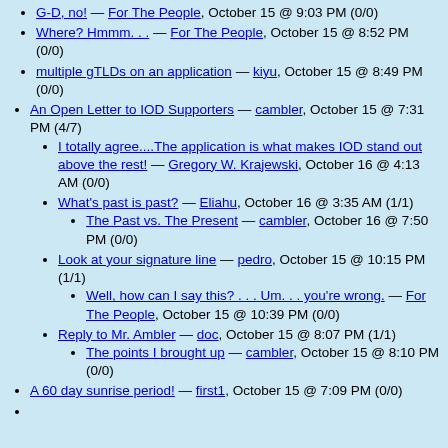G-D, no! — For The People, October 15 @ 9:03 PM (0/0)
Where? Hmmm. . . — For The People, October 15 @ 8:52 PM (0/0)
multiple gTLDs on an application — kiyu, October 15 @ 8:49 PM (0/0)
An Open Letter to IOD Supporters — cambler, October 15 @ 7:31 PM (4/7)
I totally agree....The application is what makes IOD stand out above the rest! — Gregory W. Krajewski, October 16 @ 4:13 AM (0/0)
What's past is past? — Eliahu, October 16 @ 3:35 AM (1/1)
The Past vs. The Present — cambler, October 16 @ 7:50 PM (0/0)
Look at your signature line — pedro, October 15 @ 10:15 PM (1/1)
Well, how can I say this? . . . Um. . . you're wrong. — For The People, October 15 @ 10:39 PM (0/0)
Reply to Mr. Ambler — doc, October 15 @ 8:07 PM (1/1)
The points I brought up — cambler, October 15 @ 8:10 PM (0/0)
A 60 day sunrise period! — first1, October 15 @ 7:09 PM (0/0)